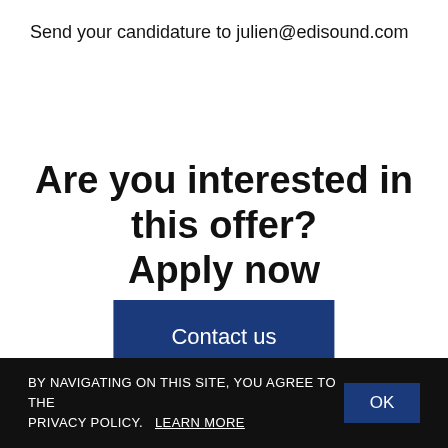Send your candidature to julien@edisound.com
Are you interested in this offer?
Apply now
Contact us
BY NAVIGATING ON THIS SITE, YOU AGREE TO THE PRIVACY POLICY.   LEARN MORE   OK